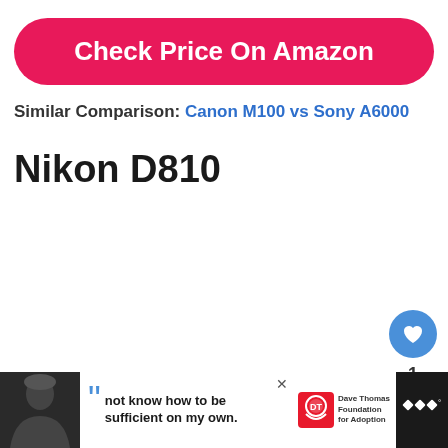[Figure (other): Pink/magenta rounded button with white text: Check Price On Amazon]
Similar Comparison: Canon M100 vs Sony A6000
Nikon D810
[Figure (other): Blue circular heart/like button with heart icon, count of 1 below, and a share button below that]
[Figure (other): Advertisement bar at bottom: dark background with man photo, white area with quote text 'not know how to be sufficient on my own.', Dave Thomas Foundation for Adoption logo, and Tidal music icon]